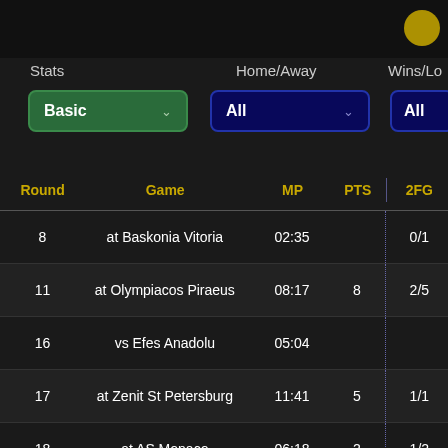[Figure (screenshot): Sports statistics web app interface showing filter dropdowns (Stats: Basic, Home/Away: All, Wins/Lo: All) and a game log table with columns Round, Game, MP, PTS, 2FG listing basketball game entries.]
| Round | Game | MP | PTS | 2FG |
| --- | --- | --- | --- | --- |
| 8 | at Baskonia Vitoria | 02:35 |  | 0/1 |
| 11 | at Olympiacos Piraeus | 08:17 | 8 | 2/5 |
| 16 | vs Efes Anadolu | 05:04 |  |  |
| 17 | at Zenit St Petersburg | 11:41 | 5 | 1/1 |
| 18 | at AS Monaco | 06:18 | 2 | 1/2 |